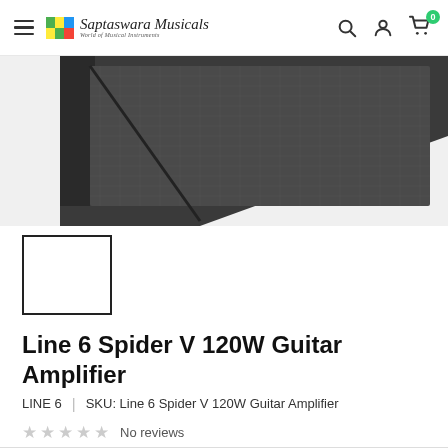Saptaswara Musicals
[Figure (photo): Partial view of a Line 6 Spider V 120W guitar amplifier combo, dark grey cabinet with mesh speaker grill, seen from a slightly elevated angle. Image is cropped showing top-left portion of the amp.]
[Figure (photo): Small thumbnail image placeholder showing an empty white box with a dark border, representing a product thumbnail for the Line 6 Spider V 120W Guitar Amplifier.]
Line 6 Spider V 120W Guitar Amplifier
LINE 6  |  SKU: Line 6 Spider V 120W Guitar Amplifier
★★★★★  No reviews